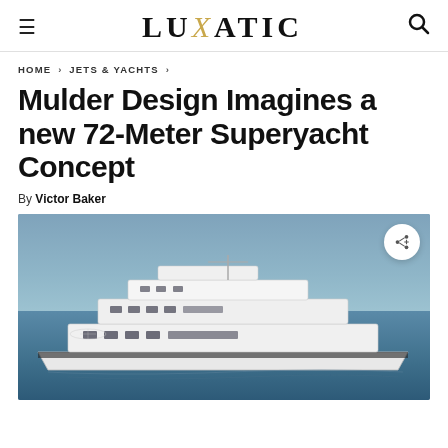LUXATIC
HOME › JETS & YACHTS ›
Mulder Design Imagines a new 72-Meter Superyacht Concept
By Victor Baker
[Figure (photo): A large white superyacht photographed from above-side angle on calm blue sea water. The yacht has multiple decks, a helicopter pad at the stern, and sleek modern design with dark accent windows along the hull.]